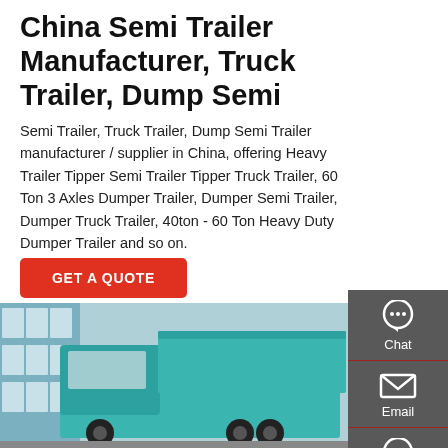China Semi Trailer Manufacturer, Truck Trailer, Dump Semi
Semi Trailer, Truck Trailer, Dump Semi Trailer manufacturer / supplier in China, offering Heavy Trailer Tipper Semi Trailer Tipper Truck Trailer, 60 Ton 3 Axles Dumper Trailer, Dumper Semi Trailer, Dumper Truck Trailer, 40ton - 60 Ton Heavy Duty Dumper Trailer and so on.
GET A QUOTE
[Figure (photo): Teal/turquoise heavy dump truck semi trailer parked in front of a glass building]
[Figure (infographic): Sidebar with Chat, Email, and Contact icons on dark grey background]